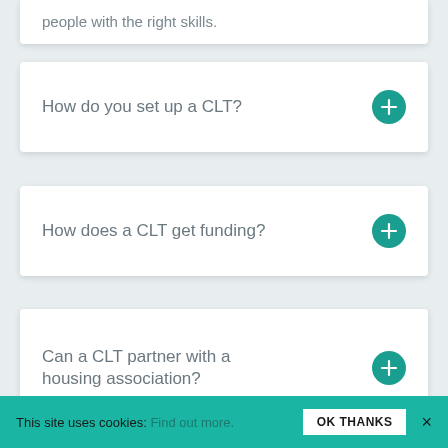people with the right skills.
How do you set up a CLT?
How does a CLT get funding?
Can a CLT partner with a housing association?
This site uses cookies: Find out more. OK THANKS ×